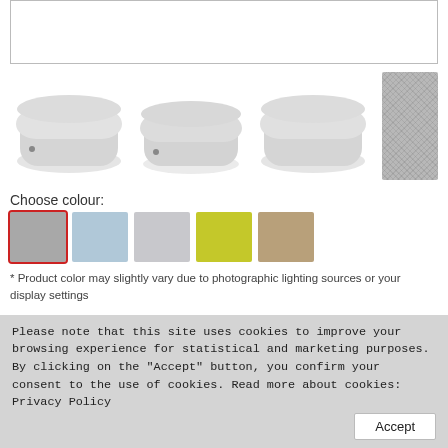[Figure (photo): Top portion of a product image area with white box outline]
[Figure (photo): Three light gray bean bag cube ottomans shown as thumbnails, plus a fabric texture swatch in darker gray]
Choose colour:
[Figure (other): Five color swatches: gray (selected with red border), light blue, light gray, yellow-green, tan/beige]
* Product color may slightly vary due to photographic lighting sources or your display settings
We donate 3 Eur of each bean bag sold to the Blue/Yellow support organization.
need a gift bag? € 19/pcs.
€ 157 €209
Please note that this site uses cookies to improve your browsing experience for statistical and marketing purposes. By clicking on the "Accept" button, you confirm your consent to the use of cookies. Read more about cookies: Privacy Policy